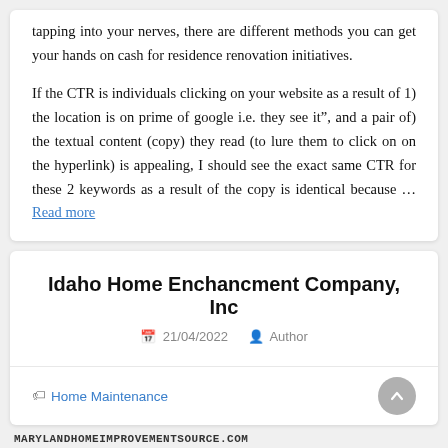tapping into your nerves, there are different methods you can get your hands on cash for residence renovation initiatives.
If the CTR is individuals clicking on your website as a result of 1) the location is on prime of google i.e. they see it", and a pair of) the textual content (copy) they read (to lure them to click on on the hyperlink) is appealing, I should see the exact same CTR for these 2 keywords as a result of the copy is identical because … Read more
Idaho Home Enchancment Company, Inc
21/04/2022   Author
Home Maintenance
MARYLANDHOMEIMPROVEMENTSOURCE.COM